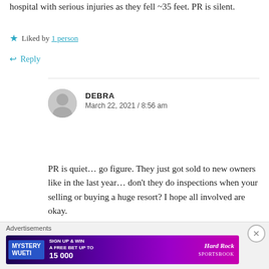hospital with serious injuries as they fell ~35 feet. PR is silent.
★ Liked by 1 person
↩ Reply
DEBRA
March 22, 2021 / 8:56 am
PR is quiet… go figure. They just got sold to new owners like in the last year… don't they do inspections when your selling or buying a huge resort? I hope all involved are okay.
★ Like
Advertisements